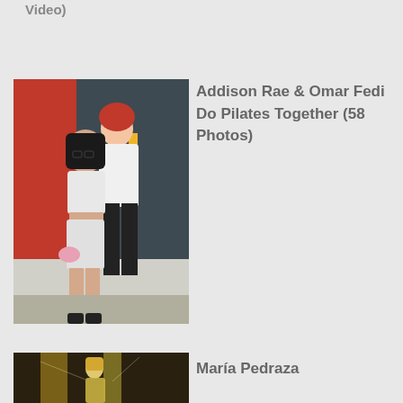Video)
[Figure (photo): Woman in white crop top and white shorts walking, man with red hair behind her]
Addison Rae & Omar Fedi Do Pilates Together (58 Photos)
[Figure (photo): María Pedraza partial photo at bottom]
María Pedraza